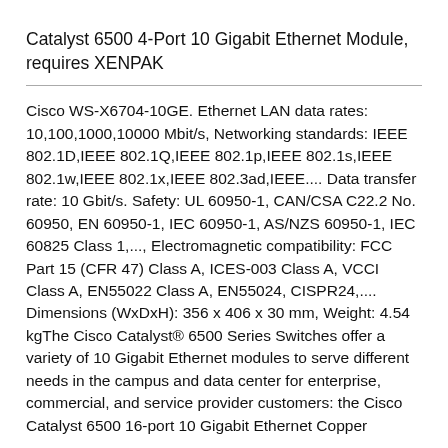Catalyst 6500 4-Port 10 Gigabit Ethernet Module, requires XENPAK
Cisco WS-X6704-10GE. Ethernet LAN data rates: 10,100,1000,10000 Mbit/s, Networking standards: IEEE 802.1D,IEEE 802.1Q,IEEE 802.1p,IEEE 802.1s,IEEE 802.1w,IEEE 802.1x,IEEE 802.3ad,IEEE.... Data transfer rate: 10 Gbit/s. Safety: UL 60950-1, CAN/CSA C22.2 No. 60950, EN 60950-1, IEC 60950-1, AS/NZS 60950-1, IEC 60825 Class 1,..., Electromagnetic compatibility: FCC Part 15 (CFR 47) Class A, ICES-003 Class A, VCCI Class A, EN55022 Class A, EN55024, CISPR24,.... Dimensions (WxDxH): 356 x 406 x 30 mm, Weight: 4.54 kgThe Cisco Catalyst® 6500 Series Switches offer a variety of 10 Gigabit Ethernet modules to serve different needs in the campus and data center for enterprise, commercial, and service provider customers: the Cisco Catalyst 6500 16-port 10 Gigabit Ethernet Copper